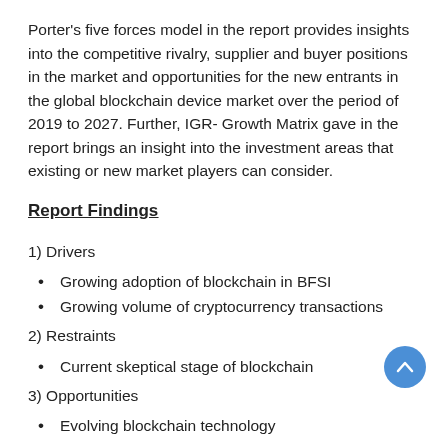Porter's five forces model in the report provides insights into the competitive rivalry, supplier and buyer positions in the market and opportunities for the new entrants in the global blockchain device market over the period of 2019 to 2027. Further, IGR-Growth Matrix gave in the report brings an insight into the investment areas that existing or new market players can consider.
Report Findings
1) Drivers
Growing adoption of blockchain in BFSI
Growing volume of cryptocurrency transactions
2) Restraints
Current skeptical stage of blockchain
3) Opportunities
Evolving blockchain technology